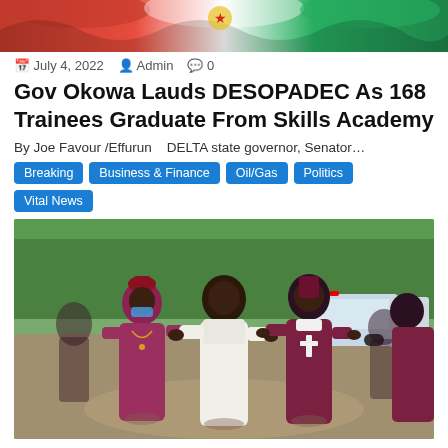[Figure (photo): Decorative top banner with colorful draped fabric in red, white and green]
July 4, 2022   Admin   0
Gov Okowa Lauds DESOPADEC As 168 Trainees Graduate From Skills Academy
By Joe Favour /Effurun   DELTA state governor, Senator...
Breaking
Business & Finance
Oil/Gas
Politics
Vital News
[Figure (photo): Group of people walking outdoors, including a man in white outfit flanked by two people in magenta/pink religious robes and crosses, with trees and a vehicle in the background]